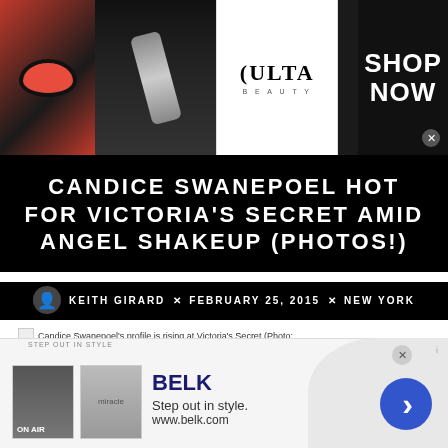[Figure (photo): Top banner showing makeup/beauty images including lips with red lipstick, a makeup brush, a model with smoky eye makeup, the Ulta Beauty logo, and a Shop Now call-to-action advertisement]
CANDICE SWANEPOEL HOT FOR VICTORIA'S SECRET AMID ANGEL SHAKEUP (PHOTOS!)
KEITH GIRARD × FEBRUARY 25, 2015 × NEW YORK
Candice Swanepoel's profile is rising at Victoria's Secret in the wake of departures by Karlie Kloss and Doutzen Kroes. (Photo: Victoria's Secret)
[Figure (screenshot): Belk advertisement: Step Out in Style. BELK. Step out in style. www.belk.com — with product images and a blue arrow button]